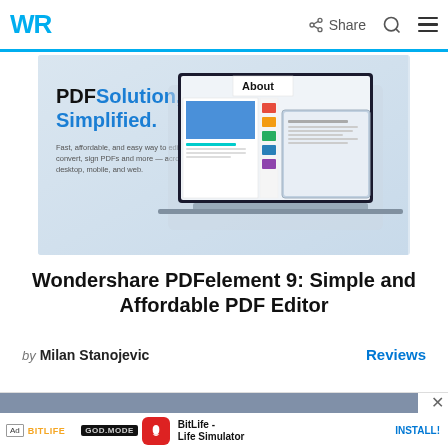WR | Share (icon) | Search (icon) | Hamburger menu
[Figure (screenshot): Advertisement banner for Wondershare PDFelement showing a laptop with PDF editing software. Text reads: PDF Solution, Simplified. Fast, affordable, and easy way to edit, convert, sign PDFs and more — across desktop, mobile, and web. Shows an 'About' panel overlay.]
Wondershare PDFelement 9: Simple and Affordable PDF Editor
by Milan Stanojevic   Reviews
[Figure (screenshot): Bottom advertisement banner showing BitLife game ad with cartoon character and BitLife - Life Simulator app install prompt with INSTALL! button.]